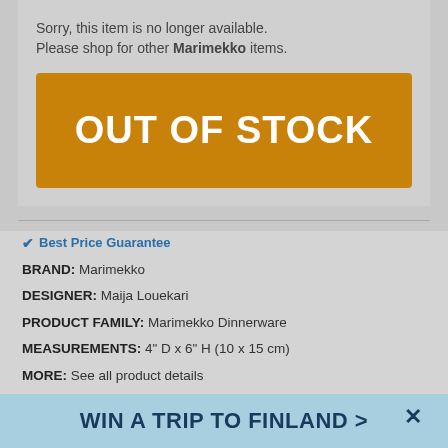Sorry, this item is no longer available. Please shop for other Marimekko items.
[Figure (other): Orange 'OUT OF STOCK' button banner]
✔ Best Price Guarantee
BRAND: Marimekko
DESIGNER: Maija Louekari
PRODUCT FAMILY: Marimekko Dinnerware
MEASUREMENTS: 4" D x 6" H (10 x 15 cm)
MORE: See all product details
WIN A TRIP TO FINLAND >